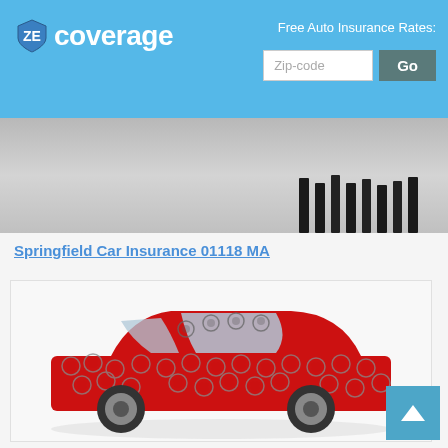ZE Coverage - Free Auto Insurance Rates: [Zip-code] [Go]
[Figure (photo): Partial photo showing feet and legs of people standing on a concrete surface, viewed from below the waist.]
Springfield Car Insurance 01118 MA
[Figure (photo): A red SUV/crossover car covered in bubble wrap, photographed against a white background — representing car insurance protection concept.]